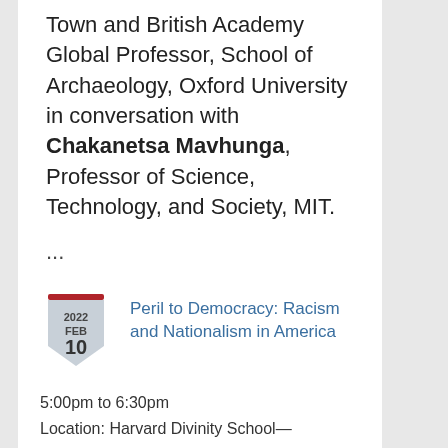Town and British Academy Global Professor, School of Archaeology, Oxford University in conversation with Chakanetsa Mavhunga, Professor of Science, Technology, and Society, MIT.
...
Peril to Democracy: Racism and Nationalism in America
5:00pm to 6:30pm
Location: Harvard Divinity School—